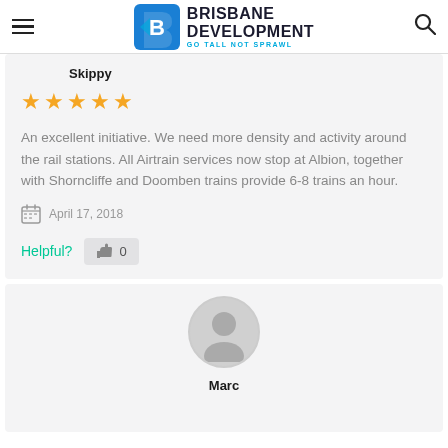Brisbane Development — Go Tall Not Sprawl
Skippy
[Figure (illustration): 5 orange/gold star rating icons]
An excellent initiative. We need more density and activity around the rail stations. All Airtrain services now stop at Albion, together with Shorncliffe and Doomben trains provide 6-8 trains an hour.
April 17, 2018
Helpful? 0
[Figure (illustration): Default user avatar circle with silhouette icon]
Marc